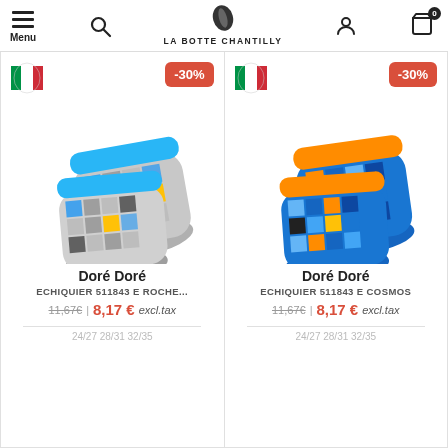Menu | LA BOTTE CHANTILLY
[Figure (photo): Grey checkered ankle socks with blue, green, yellow, black colour blocks. Two pairs shown. Doré Doré brand.]
-30%
Doré Doré
ECHIQUIER 511843 E ROCHE...
11,67€ | 8,17 € excl.tax
24/27 28/31 32/35
[Figure (photo): Blue checkered ankle socks with orange, dark navy, teal colour blocks. Two pairs shown. Doré Doré brand.]
-30%
Doré Doré
ECHIQUIER 511843 E COSMOS
11,67€ | 8,17 € excl.tax
24/27 28/31 32/35